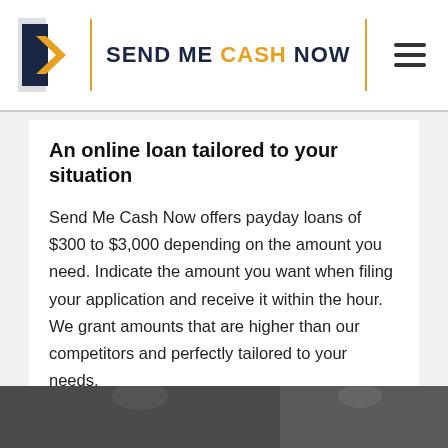SEND ME CASH NOW
An online loan tailored to your situation
Send Me Cash Now offers payday loans of $300 to $3,000 depending on the amount you need. Indicate the amount you want when filing your application and receive it within the hour. We grant amounts that are higher than our competitors and perfectly tailored to your needs.
[Figure (photo): Photo strip showing people, partially visible at bottom of page]